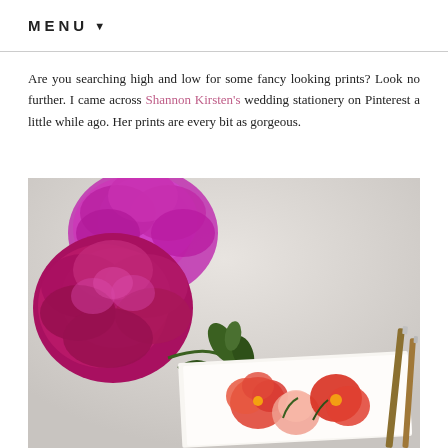MENU ▼
Are you searching high and low for some fancy looking prints? Look no further. I came across Shannon Kirsten's wedding stationery on Pinterest a little while ago. Her prints are every bit as gorgeous.
[Figure (photo): Photo of vibrant magenta peonies next to a watercolor painting of coral and pink flowers on white paper, with paint brushes visible on the right side, on a light gray surface.]